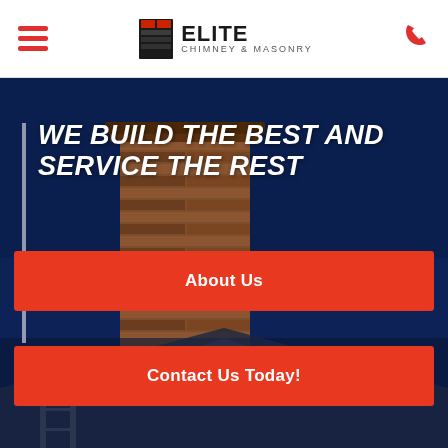Elite Chimney & Masonry — navigation header
[Figure (screenshot): Hero section with dark navy background showing a brick chimney on a rooftop. Left accent white vertical bar. Bold italic white headline text and gray subtitle.]
WE BUILD THE BEST AND SERVICE THE REST
See how affordable our chimney repair and masonry services can be.
About Us
Contact Us Today!